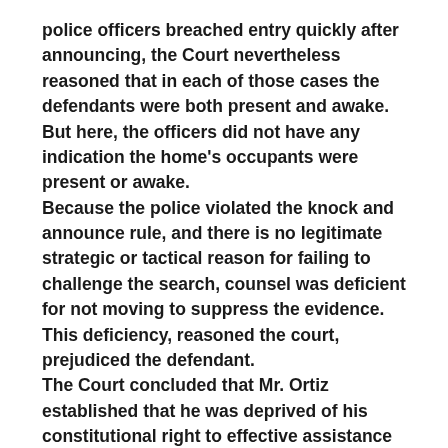police officers breached entry quickly after announcing, the Court nevertheless reasoned that in each of those cases the defendants were both present and awake. But here, the officers did not have any indication the home's occupants were present or awake.
Because the police violated the knock and announce rule, and there is no legitimate strategic or tactical reason for failing to challenge the search, counsel was deficient for not moving to suppress the evidence. This deficiency, reasoned the court, prejudiced the defendant.
The Court concluded that Mr. Ortiz established that he was deprived of his constitutional right to effective assistance of counsel. The court reversed his convictions and remanded the case back to the trial court with directions to suppress